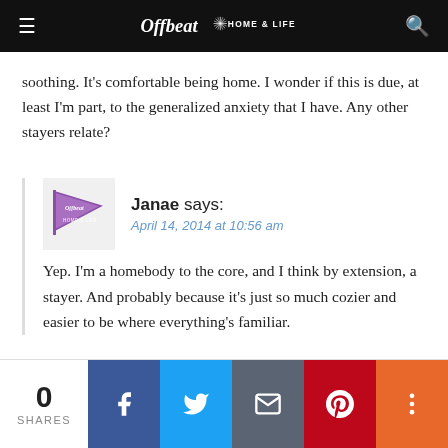Offbeat HOME & LIFE
soothing. It's comfortable being home. I wonder if this is due, at least I'm part, to the generalized anxiety that I have. Any other stayers relate?
Janae says:
April 14, 2014 at 10:56 am
Yep. I'm a homebody to the core, and I think by extension, a stayer. And probably because it's just so much cozier and easier to be where everything's familiar.
0 SHARES  [Facebook] [Twitter] [Email] [Pinterest] [More]